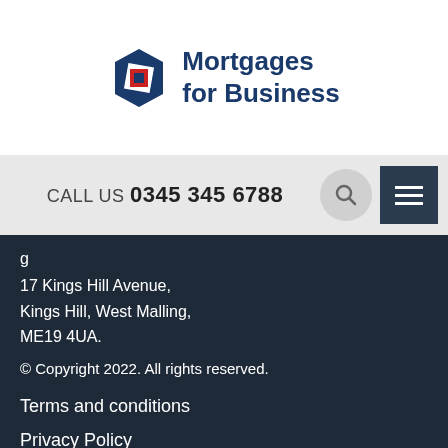[Figure (logo): Mortgages for Business logo with hexagon icon and text]
CALL US 0345 345 6788
g
17 Kings Hill Avenue,
Kings Hill, West Malling,
ME19 4UA.
© Copyright 2022. All rights reserved.
Terms and conditions
Privacy Policy
Cookie Policy
Complaints
Sitemap